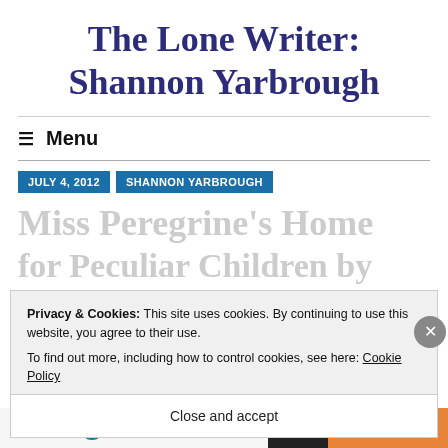The Lone Writer: Shannon Yarbrough
Menu
JULY 4, 2012  SHANNON YARBROUGH
Miss Peregrine's Home for Peculiar Children by
Privacy & Cookies: This site uses cookies. By continuing to use this website, you agree to their use.
To find out more, including how to control cookies, see here: Cookie Policy
Close and accept